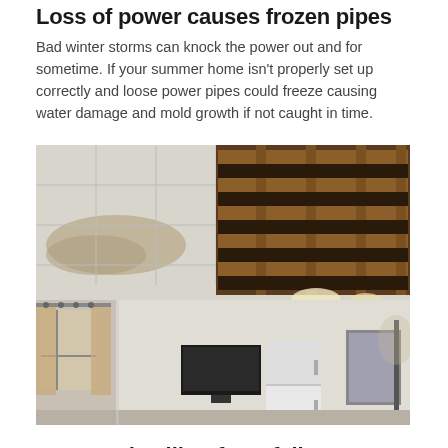Loss of power causes frozen pipes
Bad winter storms can knock the power out and for sometime. If your summer home isn't properly set up correctly and loose power pipes could freeze causing water damage and mold growth if not caught in time.
[Figure (photo): Interior photo showing a damaged ceiling with tiles removed, exposing wooden joists and structural framing above. Water damage stains visible on remaining ceiling tiles. A living room area is visible below with a TV, refrigerator, curtained window, and artwork.]
Damaged ceiling from fallen tree